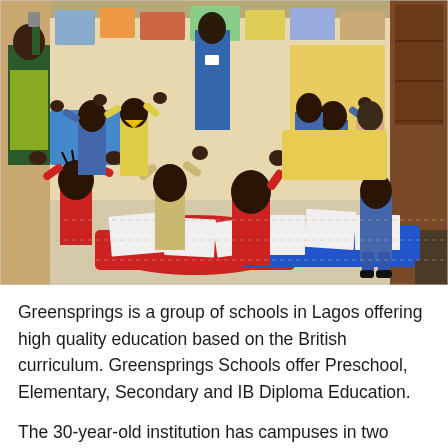[Figure (photo): A classroom full of young African children seated at colorful red and blue tables, raising their hands and clapping. A teacher in a yellow-green outfit stands at the front left. The classroom walls are decorated with posters and educational materials. The scene is bright and cheerful.]
Greensprings is a group of schools in Lagos offering high quality education based on the British curriculum. Greensprings Schools offer Preschool, Elementary, Secondary and IB Diploma Education.
The 30-year-old institution has campuses in two different locations. This afford students staying in either of the two campuses of Lagos to get a high quality education.